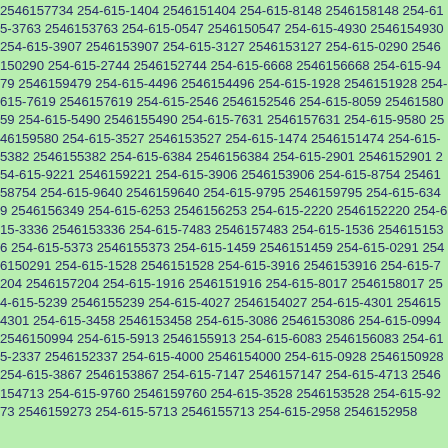2546157734 254-615-1404 2546151404 254-615-8148 2546158148 254-615-3763 2546153763 254-615-0547 2546150547 254-615-4930 2546154930 254-615-3907 2546153907 254-615-3127 2546153127 254-615-0290 2546150290 254-615-2744 2546152744 254-615-6668 2546156668 254-615-9479 2546159479 254-615-4496 2546154496 254-615-1928 2546151928 254-615-7619 2546157619 254-615-2546 2546152546 254-615-8059 2546158059 254-615-5490 2546155490 254-615-7631 2546157631 254-615-9580 2546159580 254-615-3527 2546153527 254-615-1474 2546151474 254-615-5382 2546155382 254-615-6384 2546156384 254-615-2901 2546152901 254-615-9221 2546159221 254-615-3906 2546153906 254-615-8754 2546158754 254-615-9640 2546159640 254-615-9795 2546159795 254-615-6349 2546156349 254-615-6253 2546156253 254-615-2220 2546152220 254-615-3336 2546153336 254-615-7483 2546157483 254-615-1536 2546151536 254-615-5373 2546155373 254-615-1459 2546151459 254-615-0291 2546150291 254-615-1528 2546151528 254-615-3916 2546153916 254-615-7204 2546157204 254-615-1916 2546151916 254-615-8017 2546158017 254-615-5239 2546155239 254-615-4027 2546154027 254-615-4301 2546154301 254-615-3458 2546153458 254-615-3086 2546153086 254-615-0994 2546150994 254-615-5913 2546155913 254-615-6083 2546156083 254-615-2337 2546152337 254-615-4000 2546154000 254-615-0928 2546150928 254-615-3867 2546153867 254-615-7147 2546157147 254-615-4713 2546154713 254-615-9760 2546159760 254-615-3528 2546153528 254-615-9273 2546159273 254-615-5713 2546155713 254-615-2958 2546152958